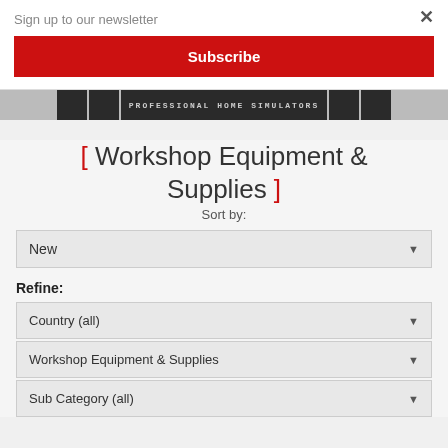Sign up to our newsletter
×
Subscribe
[Figure (screenshot): Banner strip showing 'PROFESSIONAL HOME SIMULATORS' text with partial images on edges]
[ Workshop Equipment & Supplies ]
Sort by:
New
Refine:
Country (all)
Workshop Equipment & Supplies
Sub Category (all)